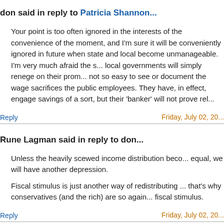don said in reply to Patricia Shannon...
Your point is too often ignored in the interests of the convenience of the moment, and I'm sure it will be conveniently ignored in future when state and local become unmanageable. I'm very much afraid the s... local governments will simply renege on their prom... not so easy to see or document the wage sacrifices the public employees. They have, in effect, engage savings of a sort, but their 'banker' will not prove rel...
Reply
Friday, July 02, 20...
Rune Lagman said in reply to don...
Unless the heavily scewed income distribution beco... equal, we will have another depression.
Fiscal stimulus is just another way of redistributing ... that's why conservatives (and the rich) are so again... fiscal stimulus.
Reply
Friday, July 02, 20...